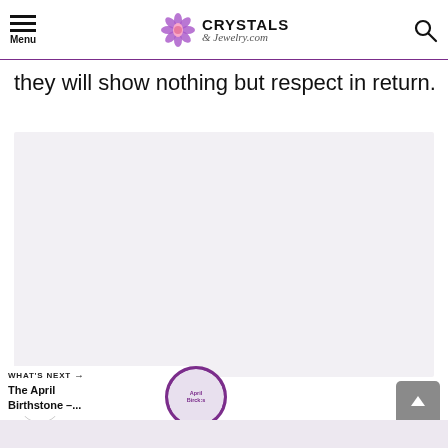CRYSTALS & Jewelry.com
they will show nothing but respect in return.
[Figure (photo): Large image placeholder area, light gray background]
WHAT'S NEXT → The April Birthstone –...